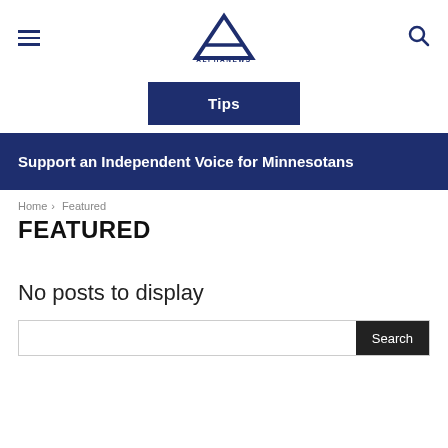Alpha News – hamburger menu, logo, search icon
[Figure (logo): Alpha News logo: large letter A with ALPHANEWS text below]
Tips
Support an Independent Voice for Minnesotans
Home › Featured
FEATURED
No posts to display
Search